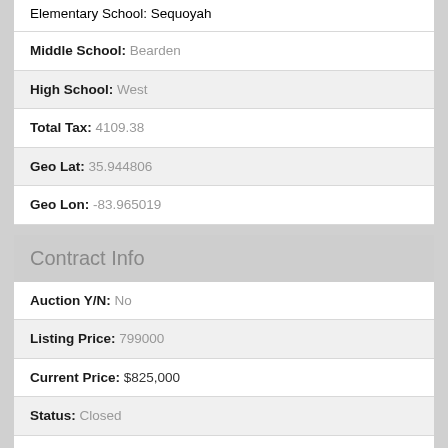Elementary School: Sequoyah
Middle School: Bearden
High School: West
Total Tax: 4109.38
Geo Lat: 35.944806
Geo Lon: -83.965019
Contract Info
Auction Y/N: No
Listing Price: 799000
Current Price: $825,000
Status: Closed
Listing Date: 2022-05-25
Occupancy: Permanent Residence